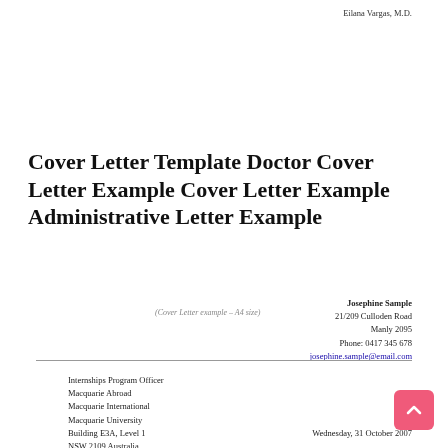Eilana Vargas, M.D.
Cover Letter Template Doctor Cover Letter Example Cover Letter Example Administrative Letter Example
(Cover Letter example – A4 size)
Josephine Sample
21/209 Culloden Road
Manly 2095
Phone: 0417 345 678
josephine.sample@email.com
Internships Program Officer
Macquarie Abroad
Macquarie International
Macquarie University
Building E3A, Level 1
NSW 2109 Australia
Wednesday, 31 October 2007